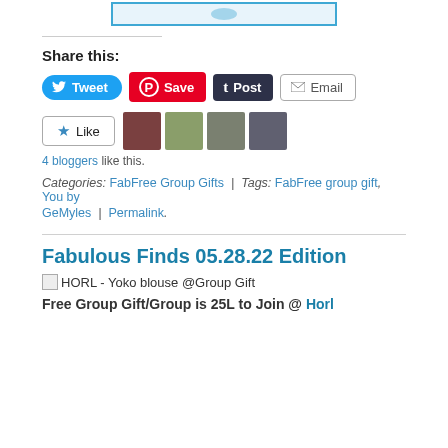[Figure (illustration): Partial top image with blue border, cropped at top]
Share this:
[Figure (other): Social share buttons: Tweet, Save, Post, Email]
[Figure (other): Like button with star icon and 4 blogger avatars]
4 bloggers like this.
Categories: FabFree Group Gifts | Tags: FabFree group gift, You by GeMyles | Permalink.
Fabulous Finds 05.28.22 Edition
[Figure (other): Broken image placeholder: HORL - Yoko blouse @Group Gift]
Free Group Gift/Group is 25L to Join @ Horl